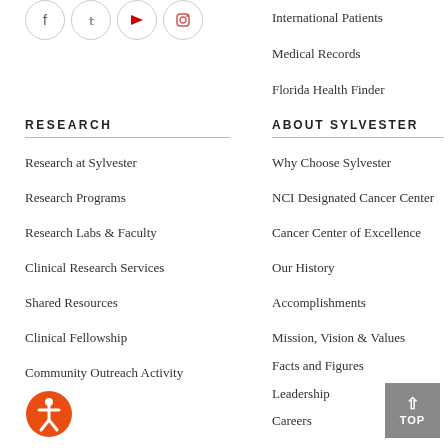[Figure (other): Social media icons row: Facebook, Twitter, YouTube, Instagram in circle borders]
International Patients
Medical Records
Florida Health Finder
RESEARCH
Research at Sylvester
Research Programs
Research Labs & Faculty
Clinical Research Services
Shared Resources
Clinical Fellowship
Community Outreach Activity
ABOUT SYLVESTER
Why Choose Sylvester
NCI Designated Cancer Center
Cancer Center of Excellence
Our History
Accomplishments
Mission, Vision & Values
Facts and Figures
Leadership
Careers
Volunteers
Contact Us
Make a Gift
[Figure (logo): Accessibility icon: orange circle with white person figure]
[Figure (other): TOP scroll-to-top button with upward arrow]